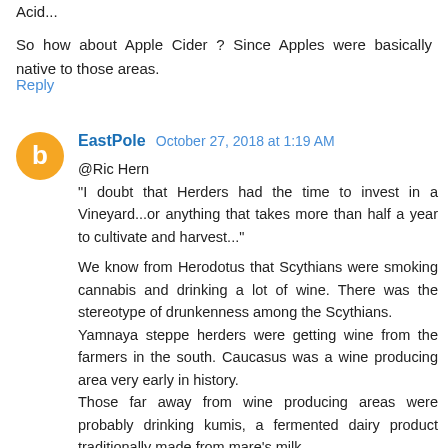Acid...

So how about Apple Cider ? Since Apples were basically native to those areas.
Reply
EastPole  October 27, 2018 at 1:19 AM
@Ric Hern
"I doubt that Herders had the time to invest in a Vineyard...or anything that takes more than half a year to cultivate and harvest..."

We know from Herodotus that Scythians were smoking cannabis and drinking a lot of wine. There was the stereotype of drunkenness among the Scythians.
Yamnaya steppe herders were getting wine from the farmers in the south. Caucasus was a wine producing area very early in history.
Those far away from wine producing areas were probably drinking kumis, a fermented dairy product traditionally made from mare's milk.